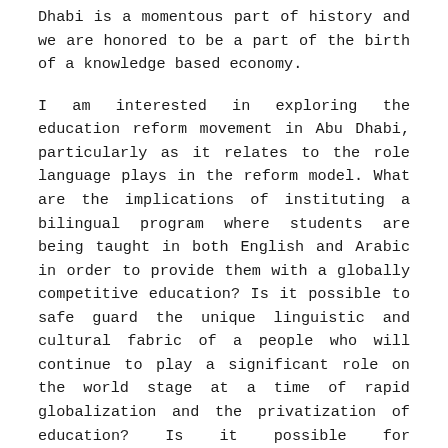Dhabi is a momentous part of history and we are honored to be a part of the birth of a knowledge based economy.
I am interested in exploring the education reform movement in Abu Dhabi, particularly as it relates to the role language plays in the reform model. What are the implications of instituting a bilingual program where students are being taught in both English and Arabic in order to provide them with a globally competitive education? Is it possible to safe guard the unique linguistic and cultural fabric of a people who will continue to play a significant role on the world stage at a time of rapid globalization and the privatization of education? Is it possible for educational leaders in the UAE to make decisions that ensure the survival of their own language, their own unique way of seeing when the Arab world looks to the West for access to knowledge and modern day